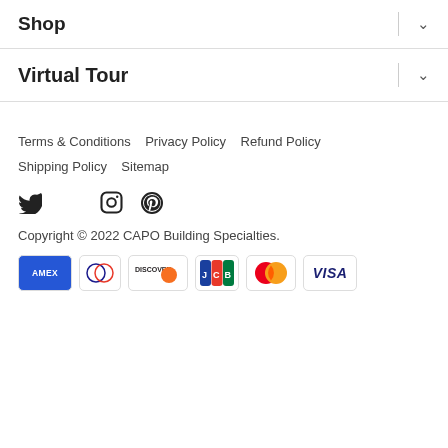Shop
Virtual Tour
Terms & Conditions   Privacy Policy   Refund Policy   Shipping Policy   Sitemap
[Figure (illustration): Social media icons: Twitter, Facebook, Instagram, Pinterest]
Copyright © 2022 CAPO Building Specialties.
[Figure (illustration): Payment method icons: American Express, Diners Club, Discover, JCB, Mastercard, Visa]